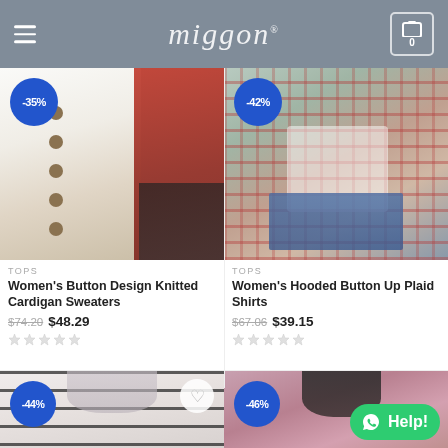miggon® — navigation header with hamburger menu and cart (0 items)
[Figure (photo): Women's Button Design Knitted Cardigan Sweaters product photo with -35% badge]
TOPS
Women's Button Design Knitted Cardigan Sweaters
$74.20  $48.29
[Figure (photo): Women's Hooded Button Up Plaid Shirts product photo with -42% badge]
TOPS
Women's Hooded Button Up Plaid Shirts
$67.06  $39.15
[Figure (photo): Striped sweater product photo with -44% badge and heart/wishlist button]
[Figure (photo): Pink top product photo with -46% badge and Help! WhatsApp button]